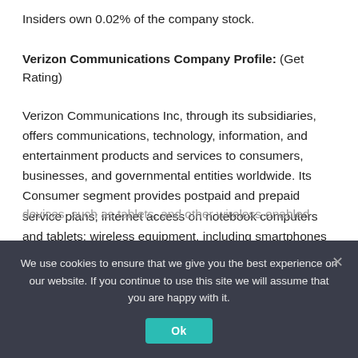Insiders own 0.02% of the company stock.
Verizon Communications Company Profile: (Get Rating)
Verizon Communications Inc, through its subsidiaries, offers communications, technology, information, and entertainment products and services to consumers, businesses, and governmental entities worldwide. Its Consumer segment provides postpaid and prepaid service plans; internet access on notebook computers and tablets; wireless equipment, including smartphones and other handsets; and wireless-enabled internet devices, such as tablets, and other wireless-enabled
We use cookies to ensure that we give you the best experience on our website. If you continue to use this site we will assume that you are happy with it.